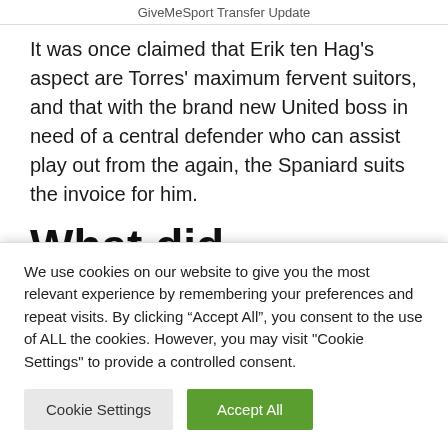GiveMeSport Transfer Update
It was once claimed that Erik ten Hag's aspect are Torres' maximum fervent suitors, and that with the brand new United boss in need of a central defender who can assist play out from the again, the Spaniard suits the invoice for him.
What did Romano
We use cookies on our website to give you the most relevant experience by remembering your preferences and repeat visits. By clicking “Accept All”, you consent to the use of ALL the cookies. However, you may visit "Cookie Settings" to provide a controlled consent.